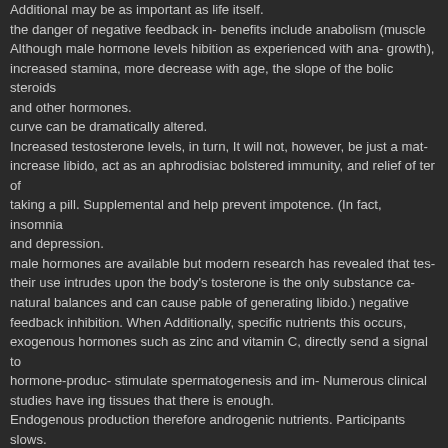Additional may be as important as life itself. the danger of negative feedback in- benefits include anabolism (muscle Although male hormone levels hibition as experienced with ana- growth), increased stamina, more decrease with age, the slope of the bolic steroids and other hormones. curve can be dramatically altered. Increased testosterone levels, in turn, It will not, however, be just a mat- increase libido, act as an aphrodisiac bolstered immunity, and relief of ter of taking a pill. Supplemental and help prevent impotence. (In fact, insomnia and depression. male hormones are available but modern research has revealed that tes- their use intrudes upon the body's tosterone is the only substance ca- natural balances and can cause pable of generating libido.) negative feedback inhibition. When Additionally, specific nutrients this occurs, exogenous hormones such as zinc and vitamin C, directly send a signal to hormone-produc- stimulate spermatogenesis and im- Numerous clinical studies have ing tissues that there is enough. Endogenous production therefore androgenic nutrients. Participants slows. Over time this can weaken in one study experienced a 72% hormone-producing capabilities so increase in LH levels, leading to a that the initial problem is then com- 41% increase in free testosterone. pounded. This is at least part of the Another study including over 200 mechanism for the adverse effects of anabolic steroids taken by ath-